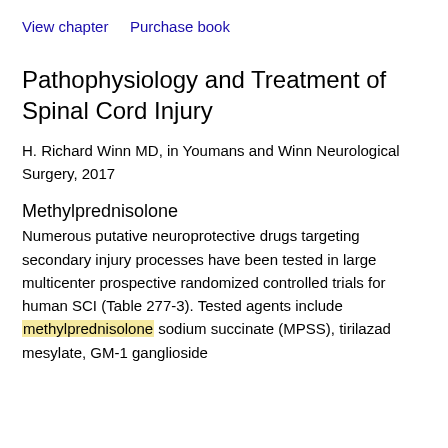View chapter   Purchase book
Pathophysiology and Treatment of Spinal Cord Injury
H. Richard Winn MD, in Youmans and Winn Neurological Surgery, 2017
Methylprednisolone
Numerous putative neuroprotective drugs targeting secondary injury processes have been tested in large multicenter prospective randomized controlled trials for human SCI (Table 277-3). Tested agents include methylprednisolone sodium succinate (MPSS), tirilazad mesylate, GM-1 ganglioside